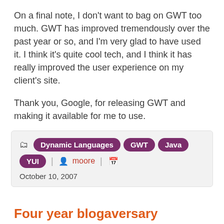On a final note, I don't want to bag on GWT too much. GWT has improved tremendously over the past year or so, and I'm very glad to have used it. I think it's quite cool tech, and I think it has really improved the user experience on my client's site.
Thank you, Google, for releasing GWT and making it available for me to use.
Tags: Dynamic Languages, GWT, Java, YUI | author: moore | date | October 10, 2007
Four year blogaversary
It's been four years and a few days since I started writing this blog. It's been a great experience. I've had good months (15 posts) and bad months (1 post), but I've written 352 posts over the last four years. I've learned a lot from this blog–how to shoot my mouth off, how to acknowledge mistakes in public, and how to write a post that gets hijacked by others for their own purposes. I thought I'd take the opportunity to highlight four of my favorite